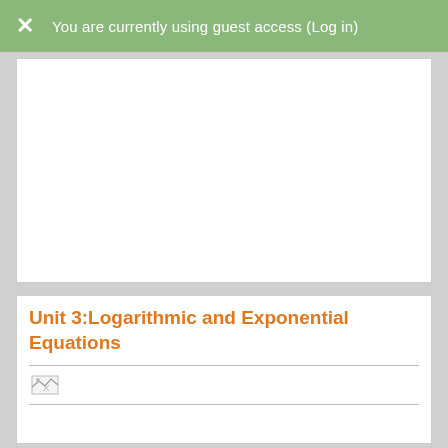You are currently using guest access (Log in)
Unit 3:Logarithmic and Exponential Equations
[Figure (other): Broken image placeholder icon in a row with horizontal rules]